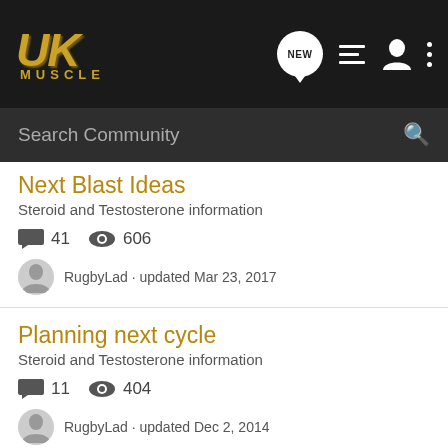UKMuscle navigation bar with logo, NEW, list, user, and menu icons
Search Community
Next Blast Ideas
Steroid and Testosterone information
41 comments · 606 views
RugbyLad · updated Mar 23, 2017
Planning next cycle
Steroid and Testosterone information
11 comments · 404 views
RugbyLad · updated Dec 2, 2014
Test 400 / Tren E + oral
Steroid and Testosterone information